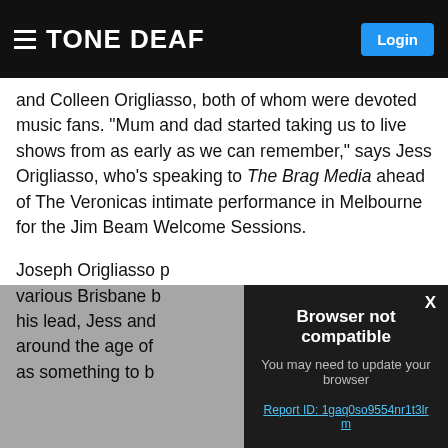TONE DEAF | Login
and Colleen Origliasso, both of whom were devoted music fans. “Mum and dad started taking us to live shows from as early as we can remember,” says Jess Origliasso, who’s speaking to The Brag Media ahead of The Veronicas intimate performance in Melbourne for the Jim Beam Welcome Sessions.
Joseph Origliasso p... various Brisbane b... his lead, Jess and ... around the age of ... as something to b...
[Figure (screenshot): Browser not compatible modal dialog overlay on the article page. Shows title 'Browser not compatible', subtitle 'You may need to update your browser', and a Report ID link: Report ID: 1gaq0so9554nr1t3lrm. An X close button is in the top right corner.]